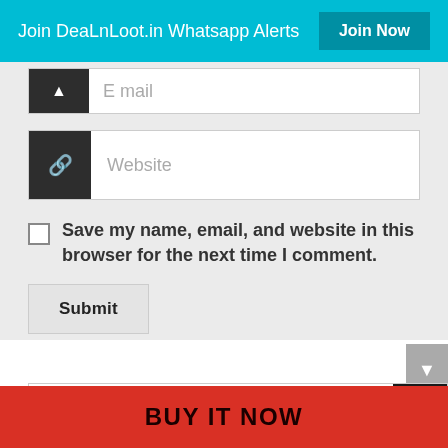Join DeaLnLoot.in Whatsapp Alerts  Join Now
[Figure (screenshot): Partial email input field with dark icon box and placeholder text 'E mail']
[Figure (screenshot): Website input field with dark icon box containing a chain-link icon and placeholder text 'Website']
Save my name, email, and website in this browser for the next time I comment.
Submit
Search
₹50
BUY IT NOW